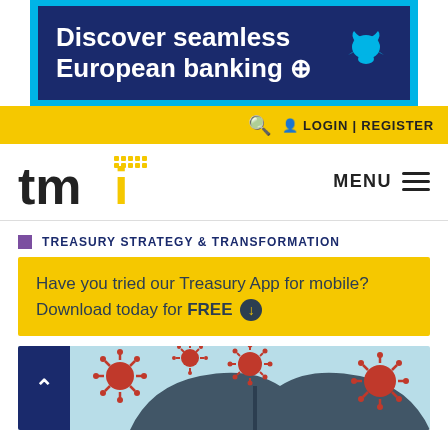[Figure (illustration): Barclays bank advertisement banner: dark navy blue background with text 'Discover seamless European banking' with a right-arrow circle icon, and a Barclays eagle logo top right, surrounded by a cyan/light blue border]
LOGIN | REGISTER
[Figure (logo): TMI logo: bold black 'tm' letters with yellow dotted pattern above a yellow 'i' letter]
MENU
TREASURY STRATEGY & TRANSFORMATION
Have you tried our Treasury App for mobile? Download today for FREE
[Figure (illustration): Light blue background with red coronavirus/COVID-19 virus illustrations and a dark umbrella silhouette, partially visible at the bottom of the page]